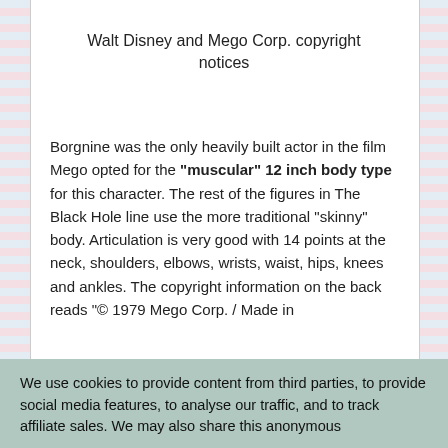Walt Disney and Mego Corp. copyright notices
Borgnine was the only heavily built actor in the film Mego opted for the “muscular” 12 inch body type for this character. The rest of the figures in The Black Hole line use the more traditional “skinny” body. Articulation is very good with 14 points at the neck, shoulders, elbows, wrists, waist, hips, knees and ankles. The copyright information on the back reads “© 1979 Mego Corp. / Made in
We use cookies to provide content from third parties, to provide social media features, to analyse our traffic, and to track affiliate sales. We may also share this anonymous